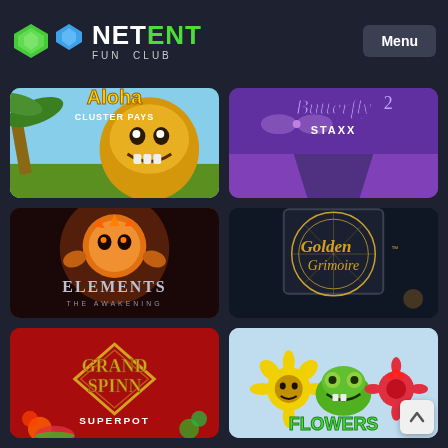NET ENT FUN CLUB
[Figure (screenshot): Aloha Cluster Pays slot game thumbnail - tropical theme with tiki character]
[Figure (screenshot): Butterfly Staxx 2 slot game thumbnail - purple field with butterfly theme]
[Figure (screenshot): Elements The Awakening slot game thumbnail - fiery orb character with game logo]
[Figure (screenshot): Golden Grimoire slot game thumbnail - mystical book/grimoire with gold text logo]
[Figure (screenshot): Grand Spinn Superpot slot game thumbnail - red background with diamond logo]
[Figure (screenshot): Flowers slot game thumbnail - cartoon flowers and plants on light blue background]